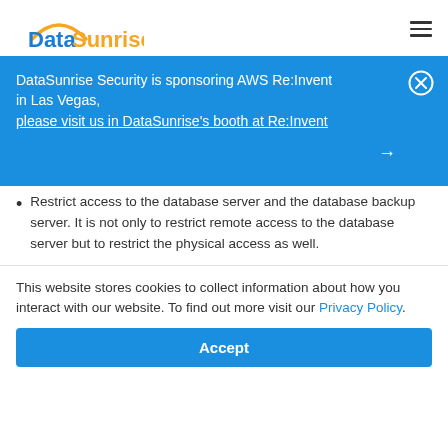DataSunrise
DataSunrise Security is sponsoring AWS Re:Invent in Las Vegas, please visit us in DataSunrise's booth at Re:Invent
Restrict access to the database server and the database backup server. It is not only to restrict remote access to the database server but to restrict the physical access as well.
This website stores cookies to collect information about how you interact with our website. To find out more visit our Privacy Policy.
Accept